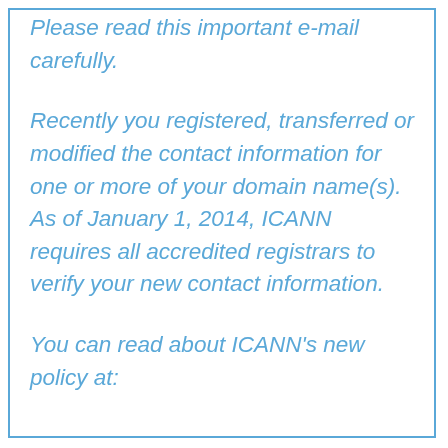Please read this important e-mail carefully.
Recently you registered, transferred or modified the contact information for one or more of your domain name(s). As of January 1, 2014, ICANN requires all accredited registrars to verify your new contact information.
You can read about ICANN's new policy at: